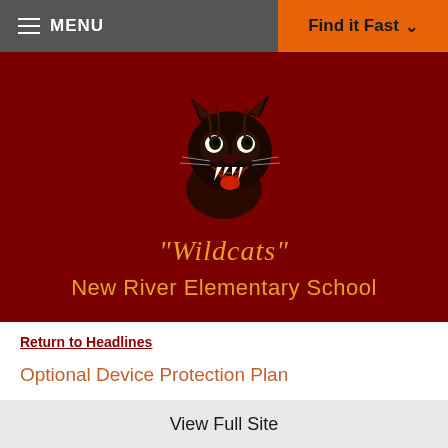≡ MENU   Find it Fast ∨
[Figure (logo): New River Elementary School wildcat mascot logo on dark red background with 'Wildcats' in gold italic script and 'New River Elementary School' in gold text below]
Return to Headlines
Optional Device Protection Plan
DEER VALLEY UNIFIED SCHOOL DISTRICT
View Full Site